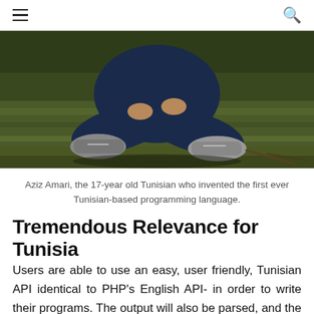☰ [search icon]
[Figure (photo): Aziz Amari, a 17-year old Tunisian youth sitting cross-legged on grass, tying his shoe, wearing jeans and sneakers]
Aziz Amari, the 17-year old Tunisian who invented the first ever Tunisian-based programming language.
Tremendous Relevance for Tunisia
Users are able to use an easy, user friendly, Tunisian API identical to PHP's English API- in order to write their programs. The output will also be parsed, and the user will receive an output matching the one he